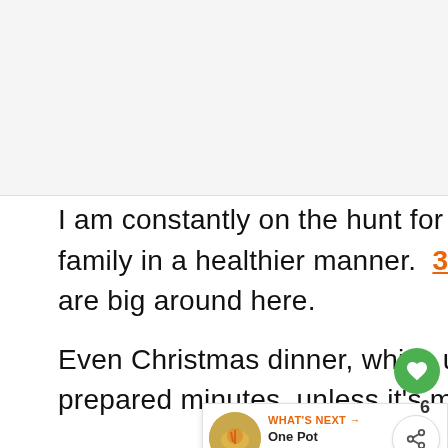[Figure (photo): Placeholder image area at top of page, light gray background]
I am constantly on the hunt for quicker and simpler ways to feed my family in a healthier manner. 30-minute meals and one pot dinners are big around here.

Even Christmas dinner, which used to be an all-day affair, is now prepared minutes, unless it's made a crockpot.